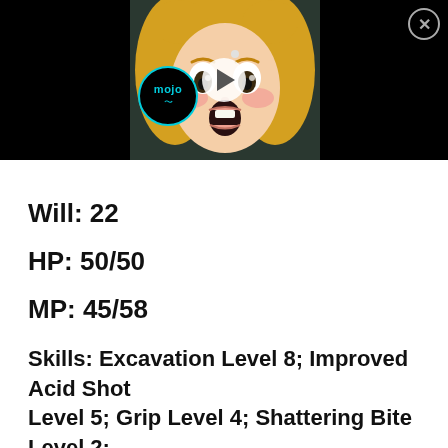[Figure (screenshot): Anime character face with blonde hair and wide open mouth expression, with a mojo logo overlay and play button, dark background video thumbnail]
Will: 22
HP: 50/50
MP: 45/58
Skills: Excavation Level 8; Improved Acid Shot Level 5; Grip Level 4; Shattering Bite Level 2; Advanced Stealth Level 5; Piercing Cl...